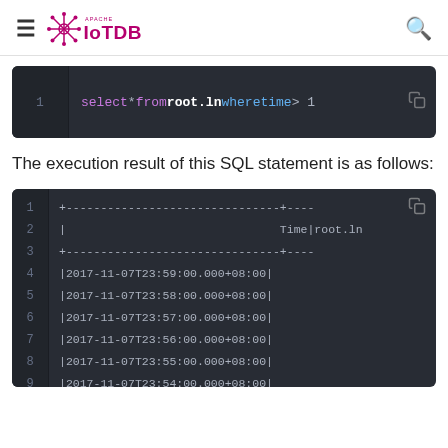Apache IoTDB
[Figure (screenshot): Code block showing SQL: select * from root.ln where time > 1[truncated]]
The execution result of this SQL statement is as follows:
[Figure (screenshot): Code block showing table output with timestamps: |2017-11-07T23:59:00.000+08:00|, |2017-11-07T23:58:00.000+08:00|, |2017-11-07T23:57:00.000+08:00|, |2017-11-07T23:56:00.000+08:00|, |2017-11-07T23:55:00.000+08:00|, |2017-11-07T23:54:00.000+08:00| with header Time|root.ln]